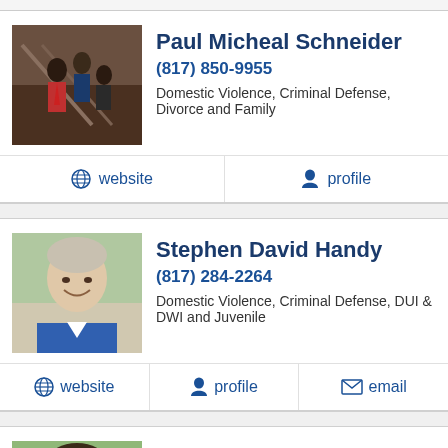Paul Micheal Schneider
(817) 850-9955
Domestic Violence, Criminal Defense, Divorce and Family
website
profile
Stephen David Handy
(817) 284-2264
Domestic Violence, Criminal Defense, DUI & DWI and Juvenile
website
profile
email
Barry Bobbitt
(817) 457-4600